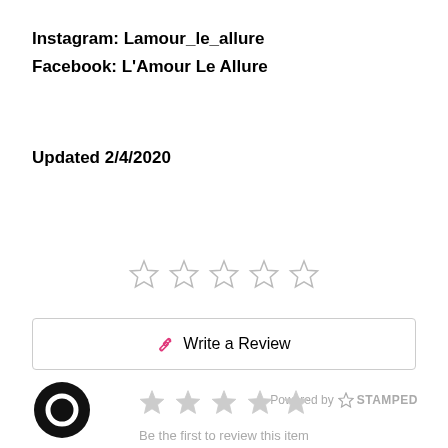Instagram: Lamour_le_allure
Facebook: L'Amour Le Allure
Updated 2/4/2020
[Figure (other): Five empty star rating icons in a row]
Write a Review
Powered by STAMPED
[Figure (other): Black circular avatar icon]
[Figure (other): Five gray star rating icons in a row]
Be the first to review this item